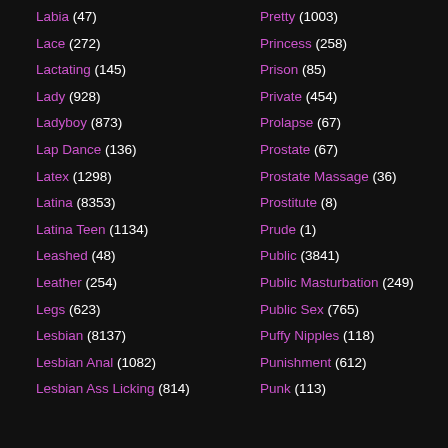Labia (47)
Lace (272)
Lactating (145)
Lady (928)
Ladyboy (873)
Lap Dance (136)
Latex (1298)
Latina (8353)
Latina Teen (1134)
Leashed (48)
Leather (254)
Legs (623)
Lesbian (8137)
Lesbian Anal (1082)
Lesbian Ass Licking (814)
Pretty (1003)
Princess (258)
Prison (85)
Private (454)
Prolapse (67)
Prostate (67)
Prostate Massage (36)
Prostitute (8)
Prude (1)
Public (3841)
Public Masturbation (249)
Public Sex (765)
Puffy Nipples (118)
Punishment (612)
Punk (113)